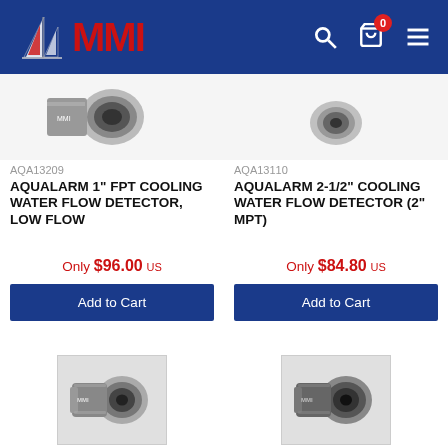MMI - Marine products e-commerce header
[Figure (screenshot): Partial product image of AQUALARM 1" FPT Cooling Water Flow Detector, Low Flow - gray cylindrical device]
[Figure (screenshot): Partial product image of AQUALARM 2-1/2" Cooling Water Flow Detector (2" MPT) - gray cylindrical device]
AQA13209
AQUALARM 1" FPT COOLING WATER FLOW DETECTOR, LOW FLOW
Only $96.00 US
Add to Cart
AQA13110
AQUALARM 2-1/2" COOLING WATER FLOW DETECTOR (2" MPT)
Only $84.80 US
Add to Cart
[Figure (photo): Product image of cooling water flow detector - dark gray cylindrical connector device]
[Figure (photo): Product image of cooling water flow detector - dark gray cylindrical connector device]